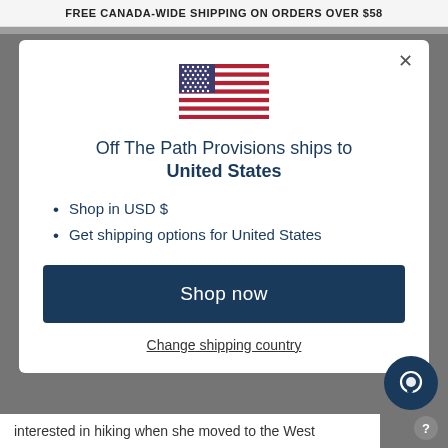FREE CANADA-WIDE SHIPPING ON ORDERS OVER $58
[Figure (illustration): US flag SVG illustration]
Off The Path Provisions ships to United States
Shop in USD $
Get shipping options for United States
Shop now
Change shipping country
interested in hiking when she moved to the West